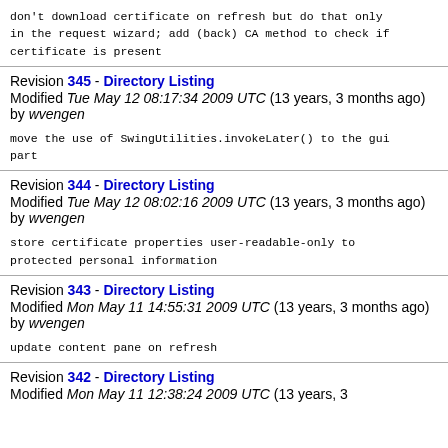don't download certificate on refresh but do that only in the request wizard; add (back) CA method to check if certificate is present
Revision 345 - Directory Listing
Modified Tue May 12 08:17:34 2009 UTC (13 years, 3 months ago) by wvengen
move the use of SwingUtilities.invokeLater() to the gui part
Revision 344 - Directory Listing
Modified Tue May 12 08:02:16 2009 UTC (13 years, 3 months ago) by wvengen
store certificate properties user-readable-only to protected personal information
Revision 343 - Directory Listing
Modified Mon May 11 14:55:31 2009 UTC (13 years, 3 months ago) by wvengen
update content pane on refresh
Revision 342 - Directory Listing
Modified Mon May 11 12:38:24 2009 UTC (13 years, 3 months ago)